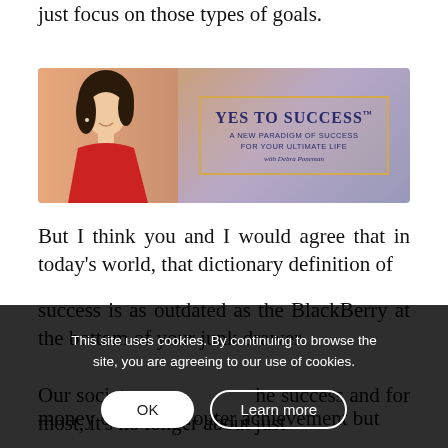just focus on those types of goals.
[Figure (photo): Banner image for 'Yes to Success' program featuring a woman with dark hair wearing a red top on the left, and a framed text box on the right reading 'Yes to Success - A New Paradigm of Success For Your Ultimate Life with Debra Poneman' on a gradient orange-purple background.]
But I think you and I would agree that in today's world, that dictionary definition of success is as outdated as the BlackBerry at the bottom of your junk drawer.
This site uses cookies. By continuing to browse the site, you are agreeing to our use of cookies.
Our society has redefined the success and for most, it's no longer about just money or fame or outer achievement but